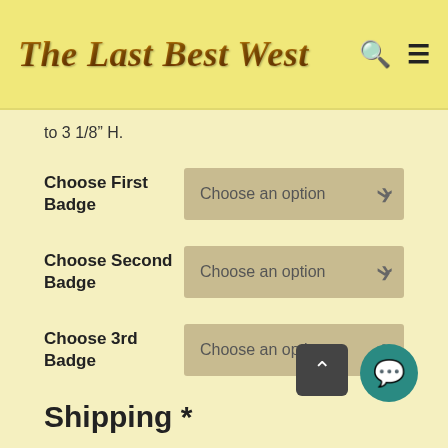The Last Best West
to 3 1/8" H.
Choose First Badge
Choose an option
Choose Second Badge
Choose an option
Choose 3rd Badge
Choose an option
Shipping *